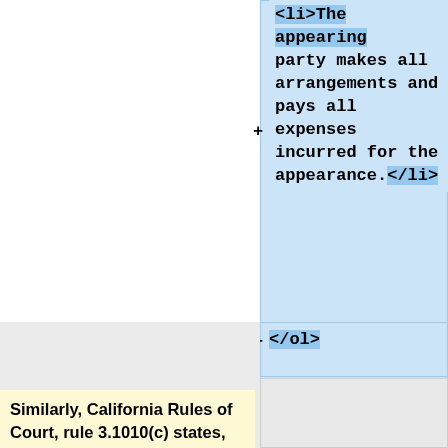<li>The appearing party makes all arrangements and pays all expenses incurred for the appearance.</li>
</ol>
Similarly, California Rules of Court, rule 3.1010(c) states, "A party deponent must appear at his or her deposition in person and be in the presence of the deposition officer." Rule 3.1010(d), in